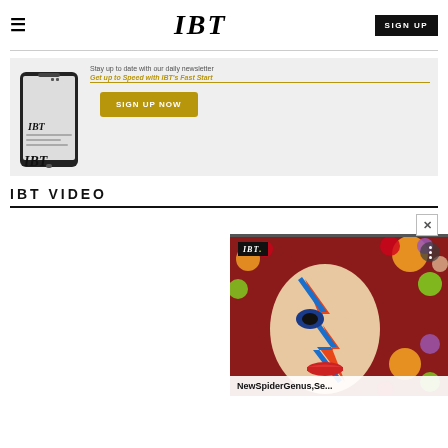IBT  SIGN UP
[Figure (screenshot): IBT newsletter signup banner with phone image, 'Stay up to date with our daily newsletter', 'Get up to Speed with IBT's Fast Start' link, and SIGN UP NOW button]
IBT VIDEO
[Figure (screenshot): Video thumbnail showing David Bowie Ziggy Stardust style face painting with colorful bubbles on red background, IBT logo badge, more options button, and title overlay 'NewSpiderGenus,Se...' with a close X button above-right]